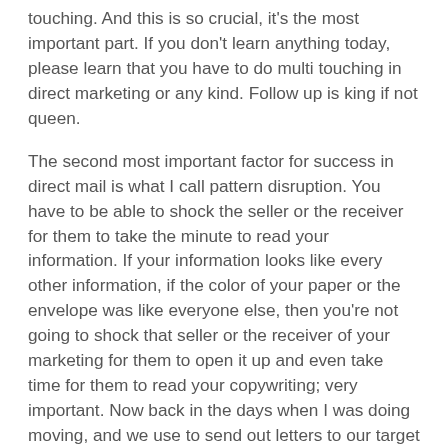touching.  And this is so crucial, it's the most important part.  If you don't learn anything today, please learn that you have to do multi touching in direct marketing or any kind. Follow up is king if not queen.
The second most important factor for success in direct mail is what I call pattern disruption.  You have to be able to shock the seller or the receiver for them to take the minute to read your information.  If your information looks like every other information, if the color of your paper or the envelope was like everyone else, then you're not going to shock that seller or the receiver of your marketing for them to open it up and even take time for them to read your copywriting; very important. Now back in the days when I was doing moving, and we use to send out letters to our target audience we would stuff them with candy, chocolate bars, so it had a little lump into it; people would open them, I don't know if they ate the candy, but it was a little different. We had...